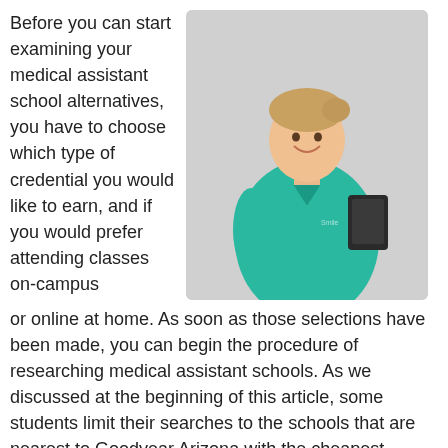Before you can start examining your medical assistant school alternatives, you have to choose which type of credential you would like to earn, and if you would prefer attending classes on-campus or online at home. As soon as those selections have been made, you can begin the procedure of researching medical assistant schools. As we discussed at the beginning of this article, some students limit their searches to the schools that are nearest to Goodyear Arizona with the cheapest tuition. Although location and cost are significant qualifiers, they are
[Figure (photo): A smiling young woman wearing green medical scrubs, holding a clipboard or tablet, photographed against a light gray background.]